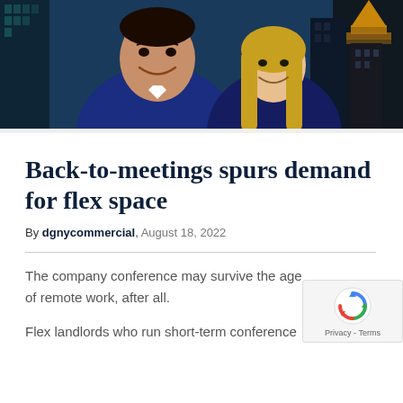[Figure (photo): Two professionals (man and woman) smiling in business attire against a New York City skyline background with skyscrapers]
Back-to-meetings spurs demand for flex space
By dgnycommercial, August 18, 2022
The company conference may survive the age of remote work, after all.
Flex landlords who run short-term conference